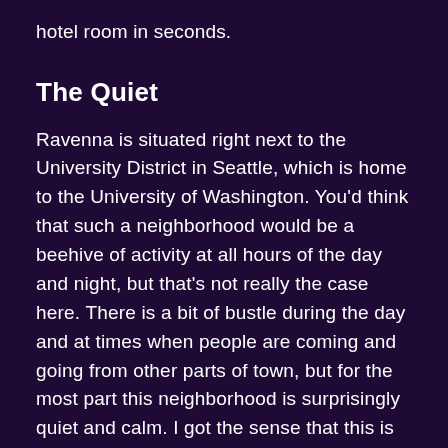hotel room in seconds.
The Quiet
Ravenna is situated right next to the University District in Seattle, which is home to the University of Washington. You'd think that such a neighborhood would be a beehive of activity at all hours of the day and night, but that's not really the case here. There is a bit of bustle during the day and at times when people are coming and going from other parts of town, but for the most part this neighborhood is surprisingly quiet and calm. I got the sense that this is exactly how the people who live here want it.
The Shopping